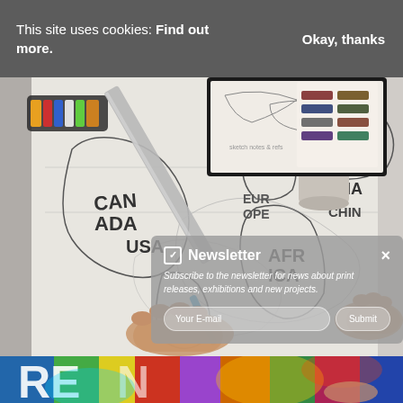This site uses cookies: Find out more.
Okay, thanks
[Figure (photo): Overhead view of an artist's desk with hands drawing a map illustration featuring continent labels (CANADA, USA, GREENLAND, RUSSIA, ASIA, CHINA, EUROPE, AFRICA) with pencils, markers, and reference books]
Newsletter
Subscribe to the newsletter for news about print releases, exhibitions and new projects.
Your E-mail
Submit
[Figure (photo): Partial view of colorful street art or graffiti with bright colors (blue, green, yellow, red) showing letters RE and partial text]